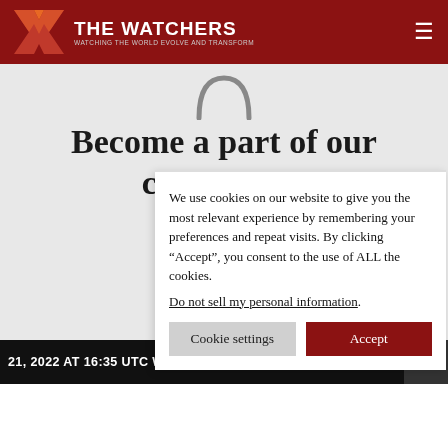THE WATCHERS — WATCHING THE WORLD EVOLVE AND TRANSFORM
[Figure (illustration): Partial circular icon/avatar placeholder at top center of content area]
Become a part of our community
Your supp... sustainabl... focused o...
Registe... conne...
We use cookies on our website to give you the most relevant experience by remembering your preferences and repeat visits. By clicking “Accept”, you consent to the use of ALL the cookies. Do not sell my personal information.
21, 2022 AT 16:35 UTC WITH AN IMPACT ENERGY OF 0.076 K